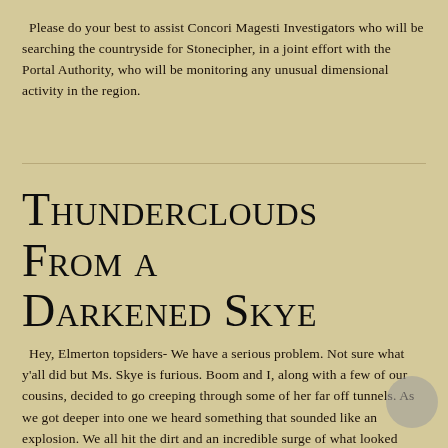Please do your best to assist Concori Magesti Investigators who will be searching the countryside for Stonecipher, in a joint effort with the Portal Authority, who will be monitoring any unusual dimensional activity in the region.
Thunderclouds From a Darkened Skye
Hey, Elmerton topsiders- We have a serious problem. Not sure what y'all did but Ms. Skye is furious. Boom and I, along with a few of our cousins, decided to go creeping through some of her far off tunnels. As we got deeper into one we heard something that sounded like an explosion. We all hit the dirt and an incredible surge of what looked like the black shards everyone is so interested in shot through the tunnel